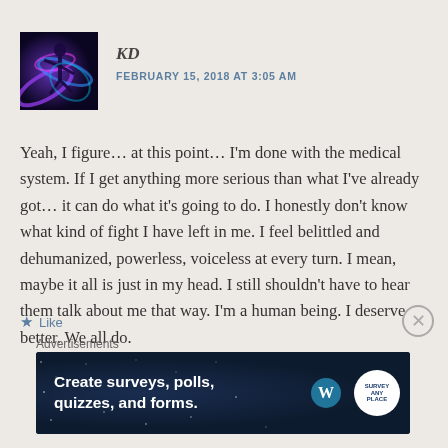[Figure (photo): Avatar image of user KD showing an acrobatic/aerial performer with colorful blue and purple lighting effects]
KD
FEBRUARY 15, 2018 AT 3:05 AM
Yeah, I figure… at this point… I'm done with the medical system. If I get anything more serious than what I've already got… it can do what it's going to do. I honestly don't know what kind of fight I have left in me. I feel belittled and dehumanized, powerless, voiceless at every turn. I mean, maybe it all is just in my head. I still shouldn't have to hear them talk about me that way. I'm a human being. I deserve better. We all do.
Like
Advertisements
[Figure (screenshot): Dark blue advertisement banner reading 'Create surveys, polls, quizzes, and forms.' with WordPress and SurveyAnyplace logos]